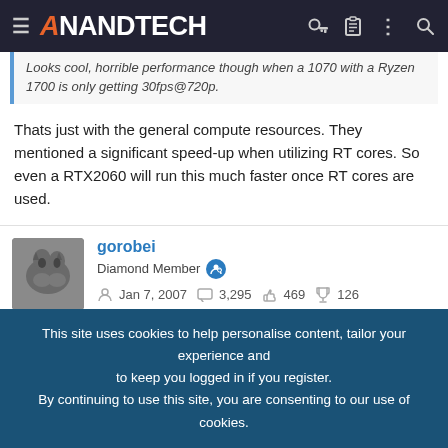AnandTech
Looks cool, horrible performance though when a 1070 with a Ryzen 1700 is only getting 30fps@720p.
Thats just with the general compute resources. They mentioned a significant speed-up when utilizing RT cores. So even a RTX2060 will run this much faster once RT cores are used.
gorobei
Diamond Member
Jan 7, 2007   3,295   469   126
Apr 23, 2019   #4
This site uses cookies to help personalise content, tailor your experience and to keep you logged in if you register.
By continuing to use this site, you are consenting to our use of cookies.